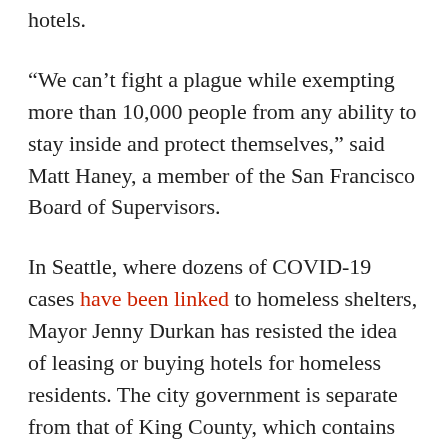hotels.
“We can’t fight a plague while exempting more than 10,000 people from any ability to stay inside and protect themselves,” said Matt Haney, a member of the San Francisco Board of Supervisors.
In Seattle, where dozens of COVID-19 cases have been linked to homeless shelters, Mayor Jenny Durkan has resisted the idea of leasing or buying hotels for homeless residents. The city government is separate from that of King County, which contains Seattle and which has invested in hotel rooms like those at the Red Lion.
Durkan spokesperson Ernesto Apreza says the Federal Emergency Management Agency would only